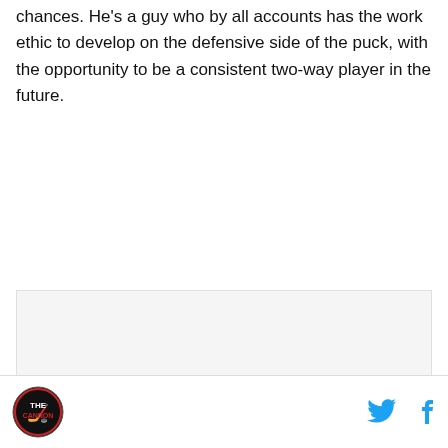chances. He's a guy who by all accounts has the work ethic to develop on the defensive side of the puck, with the opportunity to be a consistent two-way player in the future.
[Figure (other): Empty/white image placeholder area]
Logo and social media icons (Twitter, Facebook)